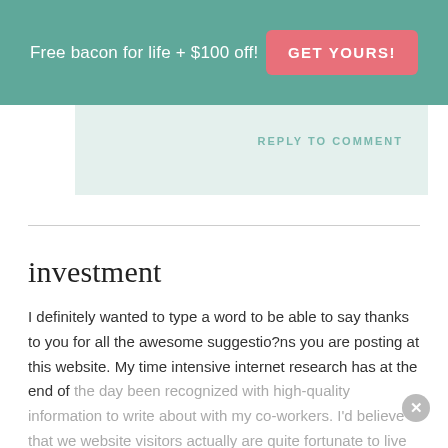Free bacon for life + $100 off! GET YOURS!
REPLY TO COMMENT
investment
I definitely wanted to type a word to be able to say thanks to you for all the awesome suggestio?ns you are posting at this website. My time intensive internet research has at the end of the day been recognized with high-quality information to write about with my co-workers. I'd believe that we website visitors actually are quite fortunate to live in a useful website with